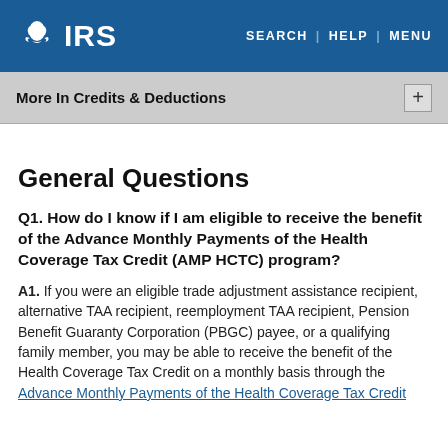IRS | SEARCH | HELP | MENU
More In Credits & Deductions
General Questions
Q1. How do I know if I am eligible to receive the benefit of the Advance Monthly Payments of the Health Coverage Tax Credit (AMP HCTC) program?
A1. If you were an eligible trade adjustment assistance recipient, alternative TAA recipient, reemployment TAA recipient, Pension Benefit Guaranty Corporation (PBGC) payee, or a qualifying family member, you may be able to receive the benefit of the Health Coverage Tax Credit on a monthly basis through the Advance Monthly Payments of the Health Coverage Tax Credit program. The PBGC the...